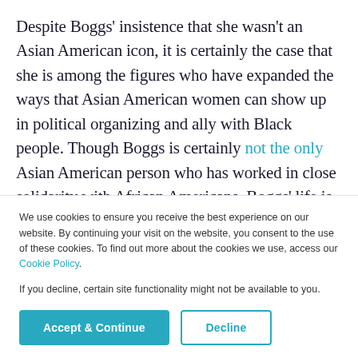Despite Boggs' insistence that she wasn't an Asian American icon, it is certainly the case that she is among the figures who have expanded the ways that Asian American women can show up in political organizing and ally with Black people. Though Boggs is certainly not the only Asian American person who has worked in close solidarity with African Americans, Boggs' life is a powerful example of the social change work that can emerge when people realize that their fates are conjoined and take aligned action.
We use cookies to ensure you receive the best experience on our website. By continuing your visit on the website, you consent to the use of these cookies. To find out more about the cookies we use, access our Cookie Policy.
If you decline, certain site functionality might not be available to you.